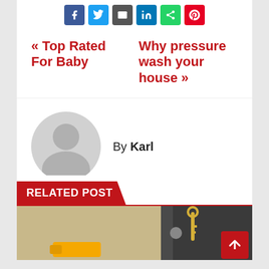[Figure (other): Social share buttons row: Facebook (blue), Twitter (light blue), Email (dark gray), LinkedIn (blue), Share (green), Pinterest (red)]
« Top Rated For Baby
Why pressure wash your house »
By Karl
[Figure (illustration): Author avatar placeholder circle with gray silhouette of a person]
RELATED POST
[Figure (photo): Photo of keys in a door lock / locksmith scene with yellow power tool visible]